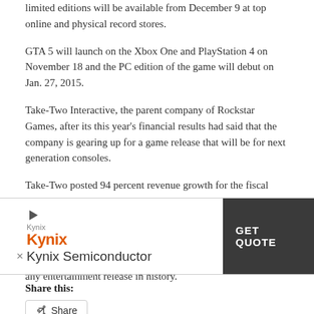limited editions will be available from December 9 at top online and physical record stores.
GTA 5 will launch on the Xbox One and PlayStation 4 on November 18 and the PC edition of the game will debut on Jan. 27, 2015.
Take-Two Interactive, the parent company of Rockstar Games, after its this year's financial results had said that the company is gearing up for a game release that will be for next generation consoles.
Take-Two posted 94 percent revenue growth for the fiscal year 2013-14 and according to the company, major contribution in the $2.214 billion revenue comes from Grand Theft Auto series.
The Grand Theft Auto 5 reached $1 billion in sales faster than any entertainment release in history.
[Figure (other): Kynix Semiconductor advertisement banner with Kynix logo in orange, 'Kynix Semiconductor' text, and a dark 'GET QUOTE' button]
Share this:
Share